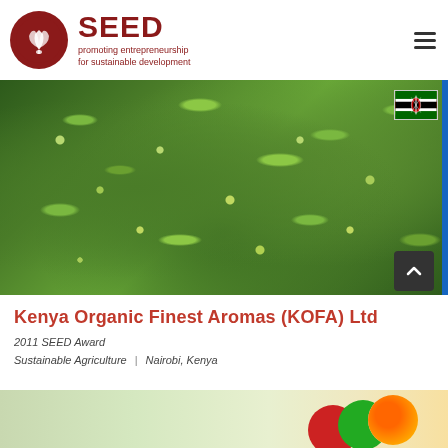SEED – promoting entrepreneurship for sustainable development
[Figure (photo): Close-up photo of green coffee plant branches with unripe green coffee berries/cherries and leaves. Kenyan flag visible in top-right corner.]
Kenya Organic Finest Aromas (KOFA) Ltd
2011 SEED Award
Sustainable Agriculture | Nairobi, Kenya
[Figure (photo): Partial view of another entry card at the bottom of the page, showing a colorful image strip.]